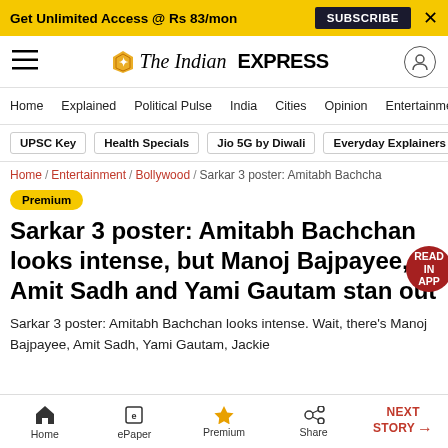Get Unlimited Access @ Rs 83/mon  SUBSCRIBE  X
[Figure (logo): The Indian Express logo with hamburger menu and user icon]
Home / Explained / Political Pulse / India / Cities / Opinion / Entertainment
UPSC Key  Health Specials  Jio 5G by Diwali  Everyday Explainers
Home / Entertainment / Bollywood / Sarkar 3 poster: Amitabha Bachcha
Premium
Sarkar 3 poster: Amitabh Bachchan looks intense, but Manoj Bajpayee, Amit Sadh and Yami Gautam stand out
Sarkar 3 poster: Amitabh Bachchan looks intense. Wait, there's Manoj Bajpayee, Amit Sadh, Yami Gautam, Jackie
Home  ePaper  Premium  Share  NEXT STORY